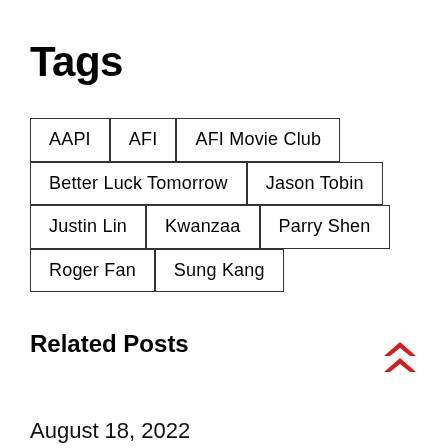Tags
AAPI
AFI
AFI Movie Club
Better Luck Tomorrow
Jason Tobin
Justin Lin
Kwanzaa
Parry Shen
Roger Fan
Sung Kang
Related Posts
August 18, 2022